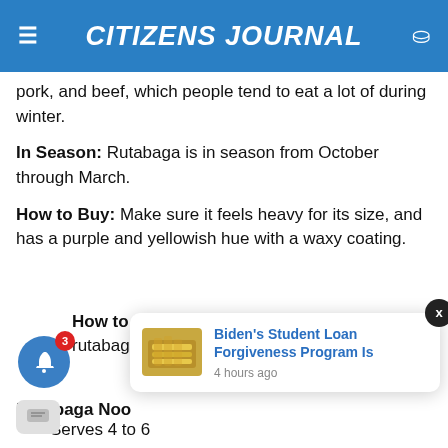CITIZENS JOURNAL
pork, and beef, which people tend to eat a lot of during winter.
In Season: Rutabaga is in season from October through March.
How to Buy: Make sure it feels heavy for its size, and has a purple and yellowish hue with a waxy coating.
How to Enjoy: At Olmsted, we make a rutabaga tagliatelle.
Rutabaga Noo
Serves 4 to 6
[Figure (screenshot): Toast notification popup showing 'Biden's Student Loan Forgiveness Program Is' with thumbnail of dollar bills, timestamped '4 hours ago']